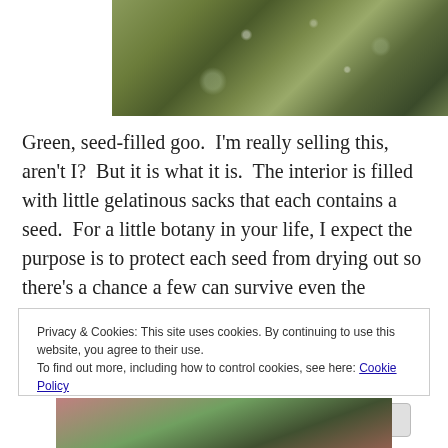[Figure (photo): Close-up photo of green, seed-filled goo interior of a fruit — gelatinous green substance with water droplets and dark seeds visible]
Green, seed-filled goo.  I'm really selling this, aren't I?  But it is what it is.  The interior is filled with little gelatinous sacks that each contains a seed.  For a little botany in your life, I expect the purpose is to protect each seed from drying out so there's a chance a few can survive even the Kalahari sun.
Privacy & Cookies: This site uses cookies. By continuing to use this website, you agree to their use.
To find out more, including how to control cookies, see here: Cookie Policy
[Figure (photo): Partial bottom photo showing more of the fruit interior in pink and green tones]